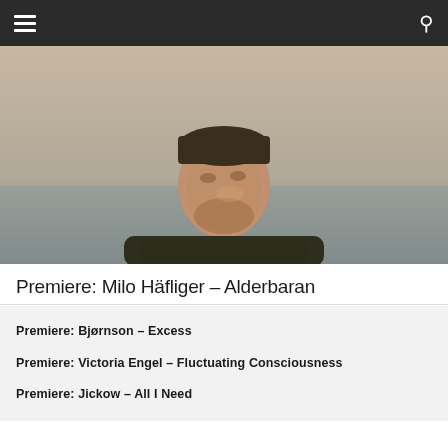Navigation bar with hamburger menu and search icon
[Figure (photo): Portrait photo of a smiling man wearing a dark olive/black knit sweater, photographed outdoors with a blurred background of water and sky. The man is looking slightly to the side.]
Premiere: Milo Häfliger – Alderbaran
Premiere: Bjørnson – Excess
Premiere: Victoria Engel – Fluctuating Consciousness
Premiere: Jickow – All I Need